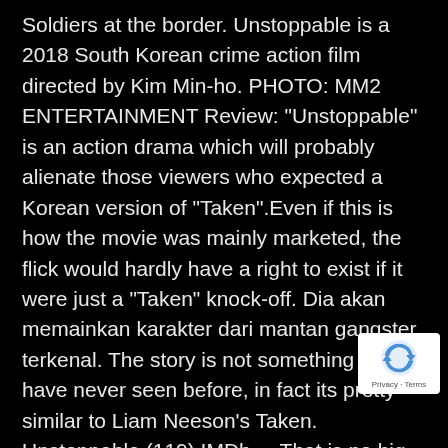Soldiers at the border. Unstoppable is a 2018 South Korean crime action film directed by Kim Min-ho. PHOTO: MM2 ENTERTAINMENT Review: "Unstoppable" is an action drama which will probably alienate those viewers who expected a Korean version of "Taken".Even if this is how the movie was mainly marketed, the flick would hardly have a right to exist if it were just a "Taken" knock-off. Dia akan memainkan karakter dari mantan gangster terkenal. The story is not something we have never seen before, in fact its pretty similar to Liam Neeson's Taken. Unstoppable (119) IMDb ... That is no big deal for me because I love this movie and the main actor. He finally says enough is enough and becomes unstoppable to take down an evil
[Figure (logo): reCAPTCHA badge with Privacy - Terms text]